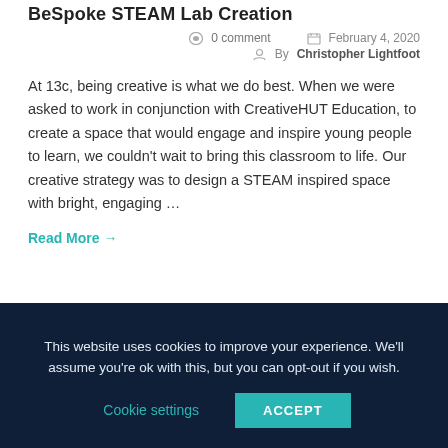BeSpoke STEAM Lab Creation
0 comment   February 4, 2020   By Christopher Lightfoot
At 13c, being creative is what we do best. When we were asked to work in conjunction with CreativeHUT Education, to create a space that would engage and inspire young people to learn, we couldn't wait to bring this classroom to life. Our creative strategy was to design a STEAM inspired space with bright, engaging …
Read More →
This website uses cookies to improve your experience. We'll assume you're ok with this, but you can opt-out if you wish.
Cookie settings   ACCEPT